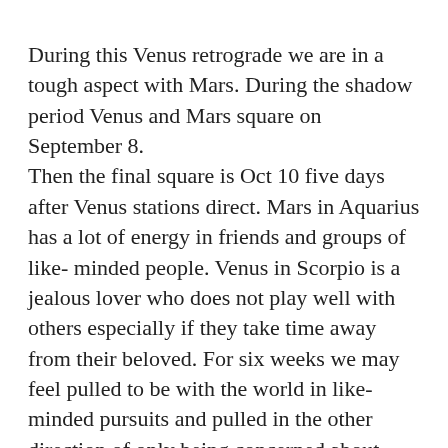During this Venus retrograde we are in a tough aspect with Mars.  During the shadow period Venus and Mars square on September 8. Then the final square is Oct 10 five days after Venus stations direct.  Mars in Aquarius has a lot of energy in friends and groups of like- minded people. Venus in Scorpio is a jealous lover who does not play well with others especially if they take time away from their beloved. For six weeks we may feel pulled to be with the world in like- minded pursuits and pulled in the other direction of only being concerned about personal desires.   If we cut one out and only put our time in the other we will feel disconnected.  I had a friend in Los Angeles in 1992  who was busy in her world not paying attention to outside influences and was la-dee-dah driving to something that she wanted to go to without any understanding that the city had exploded into